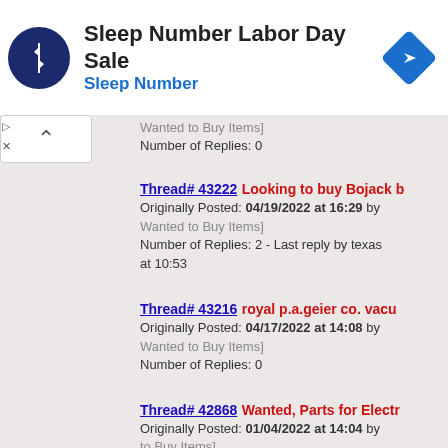[Figure (infographic): Advertisement banner: Sleep Number Labor Day Sale with dark navy circular icon with up/down arrows, Sleep Number brand name in blue, and blue diamond arrow icon on right]
Wanted to Buy Items]
Number of Replies: 0
Thread# 43222 Looking to buy Bojack b...
Originally Posted: 04/19/2022 at 16:29 by...
Wanted to Buy Items]
Number of Replies: 2 - Last reply by texas... at 10:53
Thread# 43216 royal p.a.geier co. vacu...
Originally Posted: 04/17/2022 at 14:08 by...
Wanted to Buy Items]
Number of Replies: 0
Thread# 42868 Wanted, Parts for Electr...
Originally Posted: 01/04/2022 at 14:04 by...
...to Buy Items]
Number of Replies: 6 - Last reply by Calig... 01:05
Thread# 43107 A...